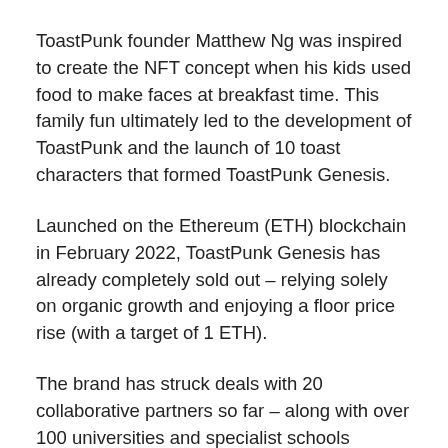ToastPunk founder Matthew Ng was inspired to create the NFT concept when his kids used food to make faces at breakfast time. This family fun ultimately led to the development of ToastPunk and the launch of 10 toast characters that formed ToastPunk Genesis.
Launched on the Ethereum (ETH) blockchain in February 2022, ToastPunk Genesis has already completely sold out – relying solely on organic growth and enjoying a floor price rise (with a target of 1 ETH).
The brand has struck deals with 20 collaborative partners so far – along with over 100 universities and specialist schools around the world to host the biggest ever DYOR (Do Your Own Research) Student Competition.